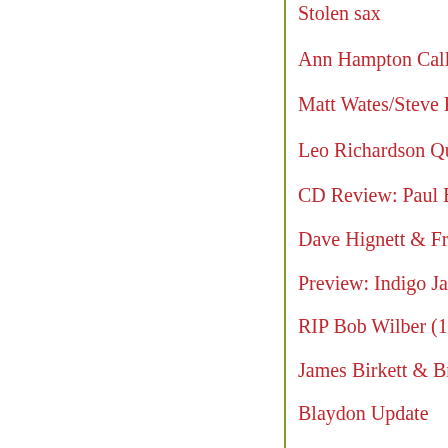Stolen sax
Ann Hampton Callaway
Matt Wates/Steve Fis…
Leo Richardson Qua…
CD Review: Paul Bo…
Dave Hignett & Frie…
Preview: Indigo Jazz…
RIP Bob Wilber (192…
James Birkett & Bra…
Blaydon Update
Sunday Jazz in Midd…
CD Review: Norther…
CD Review: Richard…
CD Review: Gretje A…
CD Review: Luke G…